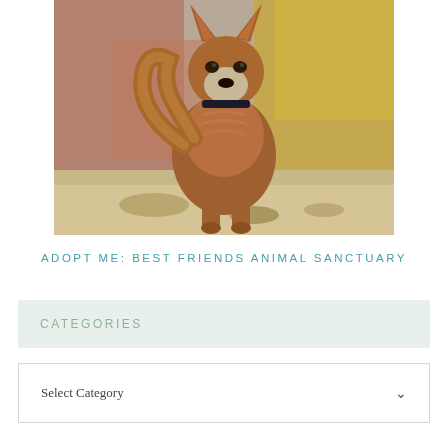[Figure (photo): A brown senior dog with a white muzzle standing outdoors on rocky ground with autumn foliage in the background]
ADOPT ME: BEST FRIENDS ANIMAL SANCTUARY
CATEGORIES
Select Category